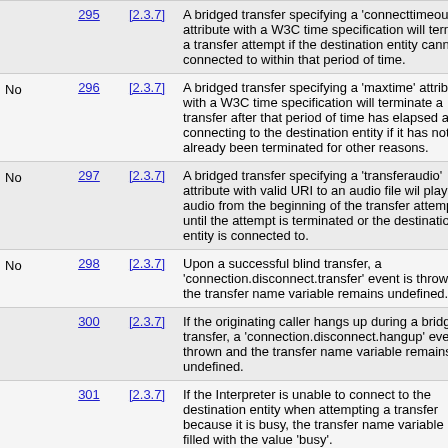|  | ID | Version | Description |
| --- | --- | --- | --- |
|  | 295 | [2.3.7] | A bridged transfer specifying a 'connecttimeout' attribute with a W3C time specification will terminate a transfer attempt if the destination entity cannot be connected to within that period of time. |
| No | 296 | [2.3.7] | A bridged transfer specifying a 'maxtime' attribute with a W3C time specification will terminate a transfer after that period of time has elapsed after connecting to the destination entity if it has not already been terminated for other reasons. |
| No | 297 | [2.3.7] | A bridged transfer specifying a 'transferaudio' attribute with valid URI to an audio file wil play that audio from the beginning of the transfer attempt until the attempt is terminated or the destination entity is connected to. |
| No | 298 | [2.3.7] | Upon a successful blind transfer, a 'connection.disconnect.transfer' event is thrown and the transfer name variable remains undefined. |
|  | 300 | [2.3.7] | If the originating caller hangs up during a bridged transfer, a 'connection.disconnect.hangup' event is thrown and the transfer name variable remains undefined. |
|  | 301 | [2.3.7] | If the Interpreter is unable to connect to the destination entity when attempting a transfer because it is busy, the transfer name variable is filled with the value 'busy'. |